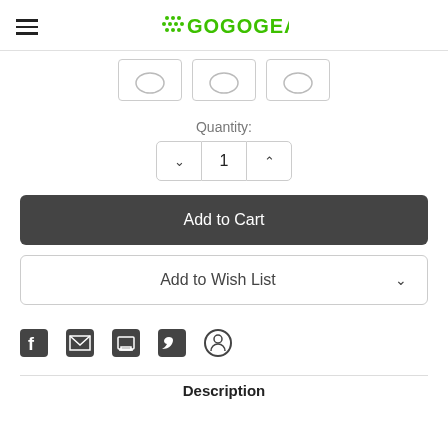GOGOGEAR
[Figure (screenshot): Three product thumbnail images in rounded-corner boxes]
Quantity:
1
Add to Cart
Add to Wish List
[Figure (infographic): Social share icons: Facebook, Email, Print, Twitter, Pinterest]
Description